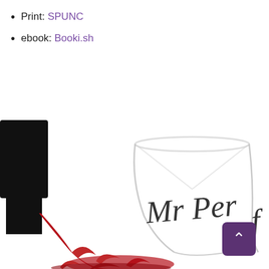Print: SPUNC
ebook: Booki.sh
[Figure (photo): A close-up photo of a wine glass with 'Mr Perf' (partially visible) written in cursive script on it, with a black wine bottle silhouette pouring red wine splashing at the base, on a white background.]